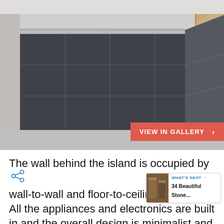[Figure (photo): Modern dark gray kitchen island with flat-panel cabinetry and handleless drawers, concrete-look floor, wood-tone cabinet visible in background, minimal design.]
VIEW IN GALLERY >
The wall behind the island is occupied by wall-to-wall and floor-to-ceiling sto... All the appliances and electronics are built in and the overall design is minimalist and
[Figure (other): What's Next promo bubble showing thumbnail image and text '34 Beautiful Stone...']